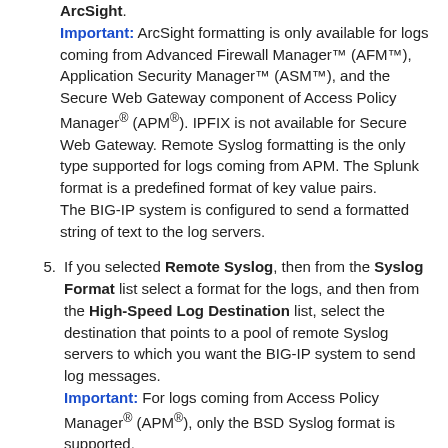ArcSight. Important: ArcSight formatting is only available for logs coming from Advanced Firewall Manager™ (AFM™), Application Security Manager™ (ASM™), and the Secure Web Gateway component of Access Policy Manager® (APM®). IPFIX is not available for Secure Web Gateway. Remote Syslog formatting is the only type supported for logs coming from APM. The Splunk format is a predefined format of key value pairs. The BIG-IP system is configured to send a formatted string of text to the log servers.
5. If you selected Remote Syslog, then from the Syslog Format list select a format for the logs, and then from the High-Speed Log Destination list, select the destination that points to a pool of remote Syslog servers to which you want the BIG-IP system to send log messages. Important: For logs coming from Access Policy Manager® (APM®), only the BSD Syslog format is supported.